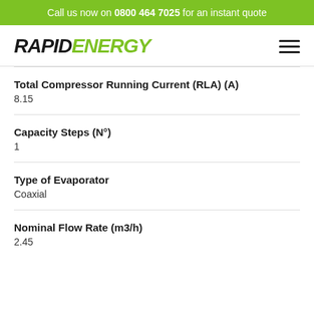Call us now on 0800 464 7025 for an instant quote
[Figure (logo): Rapid Energy logo with hamburger menu icon]
Total Compressor Running Current (RLA) (A)
8.15
Capacity Steps (N°)
1
Type of Evaporator
Coaxial
Nominal Flow Rate (m3/h)
2.45